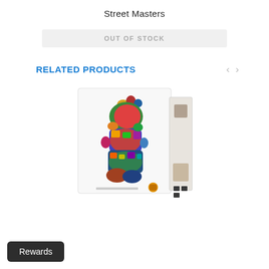Street Masters
OUT OF STOCK
RELATED PRODUCTS
[Figure (photo): Box of a board game showing a colorful silhouette figure made up of many smaller character illustrations, with a white game box and spine visible.]
Rewards